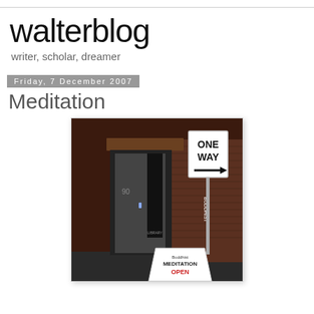walterblog
writer, scholar, dreamer
Friday, 7 December 2007
Meditation
[Figure (photo): Nighttime photo of a Buddhist Library storefront (number 90) with a vertical sign reading 'BUDDHIST LIBRARY', a ONE WAY street sign with arrow pointing right on a pole, and a sandwich board sign reading 'Buddhist MEDITATION OPEN']